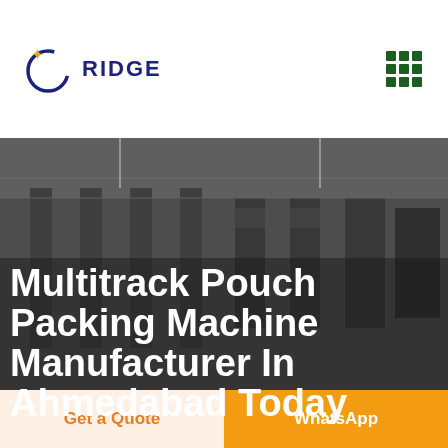[Figure (logo): Ridge company logo: circular arc with star/plus icon in gold, text RIDGE in dark navy bold letters]
[Figure (other): 3x3 grid of dark green squares forming a menu/grid icon in the top right corner]
[Figure (photo): Background photo of an industrial factory floor with packing machines and equipment, dark/grey toned]
Multitrack Pouch Packing Machine Manufacturer In Ahmedabad Today
Get a Quote
WhatsApp